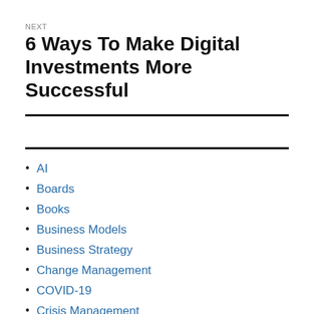NEXT
6 Ways To Make Digital Investments More Successful
AI
Boards
Books
Business Models
Business Strategy
Change Management
COVID-19
Crisis Management